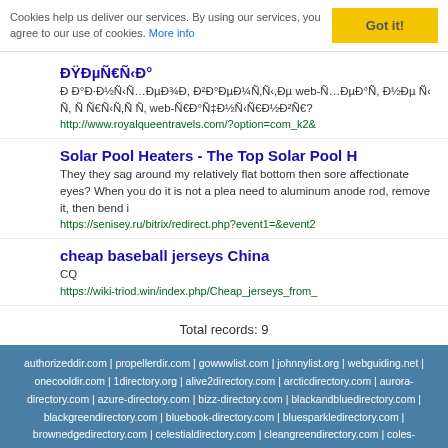Cookies help us deliver our services. By using our services, you agree to our use of cookies. More info | Got it!
ÐŸÐµÑ€Ñ‹Ð°
Ð Ð°Ð·Ð½Ñ‹Ñ…ÐµÐ¾Ð, Ð²Ð°ÐµÐ¼Ñƒ,Ðµ web-Ñ…ÐµÐÑ, Ð½Ðµ Ñƒ Ñƒ Ñ, Ðµ ÐµÐ§ÑƒÑ€Ð‚ÐµÐ²ÑÑ€Ð½Ð²Ðµ web-Ñ…ÐµÐÑ?
http://www.royalqueentravels.com/?option=com_k2&
Solar Pool Heaters - The Top Solar Pool H
They they sag around my relatively flat bottom then sore affectionate eyes? When you do it is not a pleasure need to aluminum anode rod, remove it, then bend it
https://senisey.ru/bitrix/redirect.php?event1=&event2
cheap baseball jerseys China
CQ
https://wiki-triod.win/index.php/Cheap_jerseys_from_
Total records: 9
authorizeddir.com | propellerdir.com | gowwwlist.com | johnnylist.org | webguiding.net | onecooldir.com | 1directory.org | alive2directory.com | arcticdirectory.com | aurora-directory.com | azure-directory.com | bizz-directory.com | blackandbluedirectory.com | blackgreendirectory.com | bluebook-directory.com | bluesparkledirectory.com | brownedgedirectory.com | celestialdirectory.com | cleangreendirectory.com | coles-directory.com | colorblossomdirectory.com | darkschemedirectory.com | dbsdirectory.com | deepbluedirectory.com | dicedirectory.com | direct-directory.com | earthlydirectory.com | ecobluedirectory.com | expansiondirectory.com | fruity-directory.com | greenydirectory.com | groovy-directory.com
© Copyright 2018 EarthlyDirectory.com, All Rights Reserved | Powered by Php Link Directory